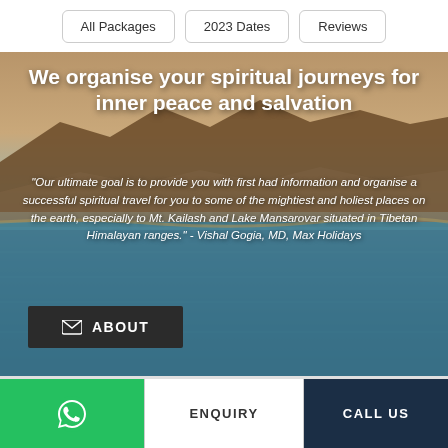All Packages | 2023 Dates | Reviews
We organise your spiritual journeys for inner peace and salvation
"Our ultimate goal is to provide you with first had information and organise a successful spiritual travel for you to some of the mightiest and holiest places on the earth, especially to Mt. Kailash and Lake Mansarovar situated in Tibetan Himalayan ranges." - Vishal Gogia, MD, Max Holidays
ABOUT
ENQUIRY
CALL US